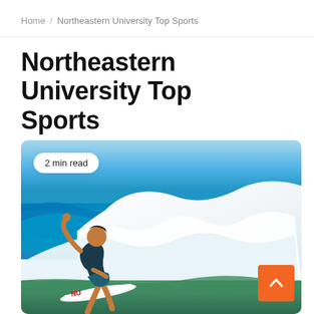Home / Northeastern University Top Sports
Northeastern University Top Sports
[Figure (photo): A surfer in dark wetsuit and shorts crouching on a surfboard riding a wave with white foam and blue ocean water in the background]
2 min read